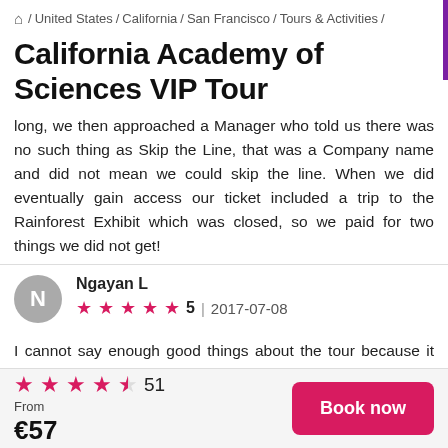⌂ / United States / California / San Francisco / Tours & Activities /
California Academy of Sciences VIP Tour
long, we then approached a Manager who told us there was no such thing as Skip the Line, that was a Company name and did not mean we could skip the line. When we did eventually gain access our ticket included a trip to the Rainforest Exhibit which was closed, so we paid for two things we did not get!
Ngayan L  ★★★★★ 5  |  2017-07-08
I cannot say enough good things about the tour because it did allow us to enter places that most people weren't allowed to and we were shown things that were not
★★★★½ 51  From €57  Book now